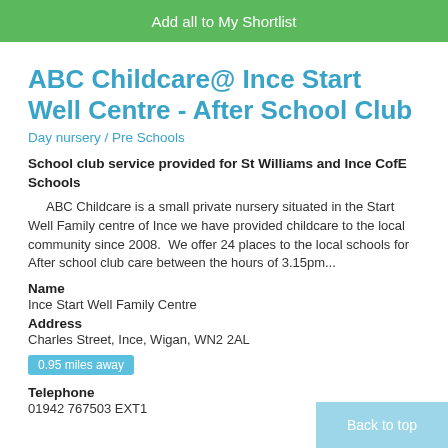Add all to My Shortlist
ABC Childcare@ Ince Start Well Centre - After School Club
Day nursery / Pre Schools
School club service provided for St Williams and Ince CofE Schools
ABC Childcare is a small private nursery situated in the Start Well Family centre of Ince we have provided childcare to the local community since 2008.  We offer 24 places to the local schools for After school club care between the hours of 3.15pm...
Name
Ince Start Well Family Centre
Address
Charles Street, Ince, Wigan, WN2 2AL
0.95 miles away
Telephone
01942 767503 EXT1